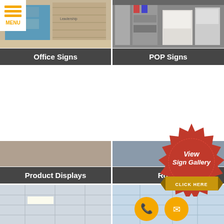[Figure (photo): Menu button with yellow/orange horizontal bars and MENU text]
[Figure (photo): Office interior with leadership signage on wall]
Office Signs
[Figure (photo): POP signs retail store interior]
POP Signs
[Figure (photo): Product Displays category image]
Product Displays
[Figure (photo): Rooftop signs category image]
Roo...
[Figure (infographic): View Sign Gallery CLICK HERE red badge/stamp with gold ribbon]
[Figure (photo): Bottom left - indoor ceiling/sign photo]
[Figure (photo): Bottom right - contact icons phone and email on yellow circles]